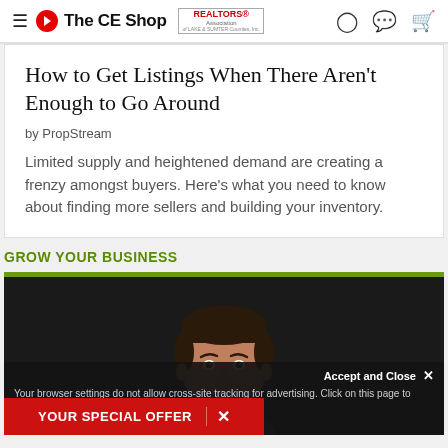The CE Shop | REALTORS Association
How to Get Listings When There Aren't Enough to Go Around
by PropStream
Limited supply and heightened demand are creating a frenzy amongst buyers. Here's what you need to know about finding more sellers and building your inventory.
GROW YOUR BUSINESS
[Figure (photo): Portrait photo of a man with dark hair smiling, against a dark background, on The CE Shop article page.]
Accept and Close ✕
Your browser settings do not allow cross-site tracking for advertising. Click on this page to allow you. Learn more or opt out of this AdRoll tracking
YOUR SPECIAL OFFER  ✕